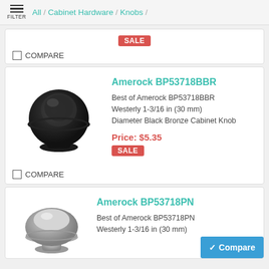FILTER / All / Cabinet Hardware / Knobs /
SALE
COMPARE
Amerock BP53718BBR
Best of Amerock BP53718BBR Westerly 1-3/16 in (30 mm) Diameter Black Bronze Cabinet Knob
Price: $5.35
SALE
COMPARE
[Figure (photo): Black Bronze cabinet knob, round mushroom shape with ridged edge, dark matte finish]
Amerock BP53718PN
Best of Amerock BP53718PN Westerly 1-3/16 in (30 mm)
[Figure (photo): Polished nickel cabinet knob, round flat-top shape with brushed silver finish]
Compare